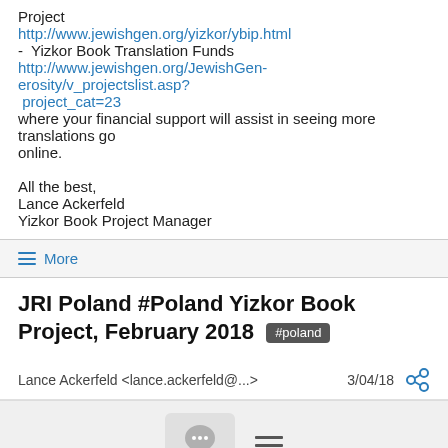Project
http://www.jewishgen.org/yizkor/ybip.html
-  Yizkor Book Translation Funds
http://www.jewishgen.org/JewishGen-erosity/v_projectslist.asp?project_cat=23
where your financial support will assist in seeing more translations go
online.

All the best,
Lance Ackerfeld
Yizkor Book Project Manager
≡ More
JRI Poland #Poland Yizkor Book Project, February 2018 #poland
Lance Ackerfeld <lance.ackerfeld@...>  3/04/18